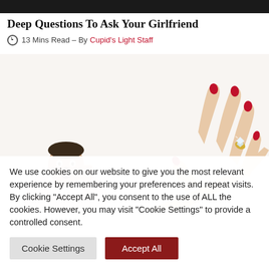[Figure (photo): Dark/black top strip representing cropped photo of people]
Deep Questions To Ask Your Girlfriend
13 Mins Read – By Cupid's Light Staff
[Figure (photo): A woman's hand with red nail polish showing an engagement ring; a surprised man visible in the lower left]
We use cookies on our website to give you the most relevant experience by remembering your preferences and repeat visits. By clicking "Accept All", you consent to the use of ALL the cookies. However, you may visit "Cookie Settings" to provide a controlled consent.